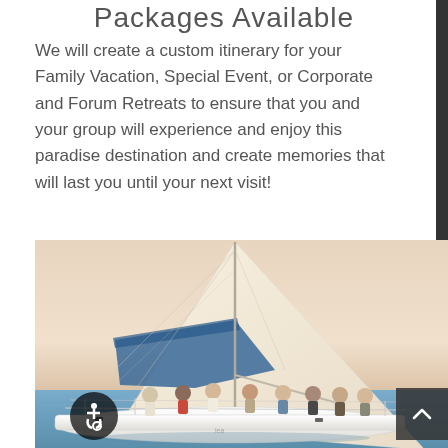Packages Available
We will create a custom itinerary for your Family Vacation, Special Event, or Corporate and Forum Retreats to ensure that you and your group will experience and enjoy this paradise destination and create memories that will last you until your next visit!
[Figure (photo): Group of people sitting and relaxing on the deck of a large sailing yacht on the open sea, with a large white sail and blue sail cover visible, warm sunset light in background]